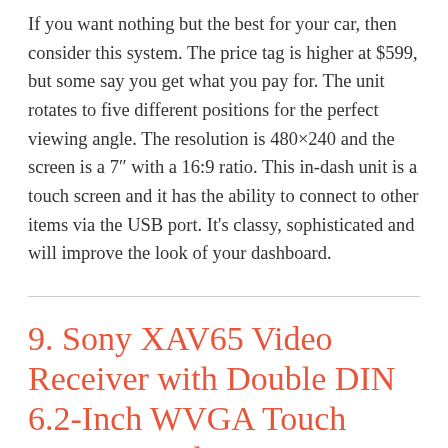If you want nothing but the best for your car, then consider this system. The price tag is higher at $599, but some say you get what you pay for. The unit rotates to five different positions for the perfect viewing angle. The resolution is 480×240 and the screen is a 7″ with a 16:9 ratio. This in-dash unit is a touch screen and it has the ability to connect to other items via the USB port. It's classy, sophisticated and will improve the look of your dashboard.
9. Sony XAV65 Video Receiver with Double DIN 6.2-Inch WVGA Touch Screen Display
Sony is a name that means quality with household